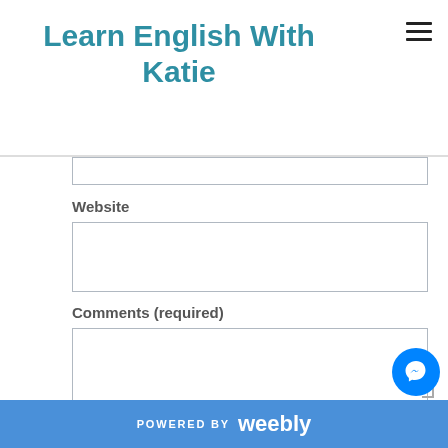Learn English With Katie
Website
Comments (required)
POWERED BY weebly